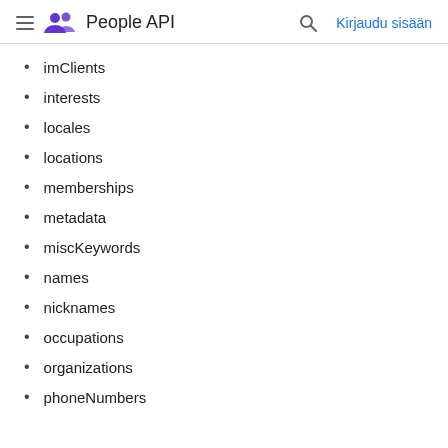People API   Kirjaudu sisään
imClients
interests
locales
locations
memberships
metadata
miscKeywords
names
nicknames
occupations
organizations
phoneNumbers